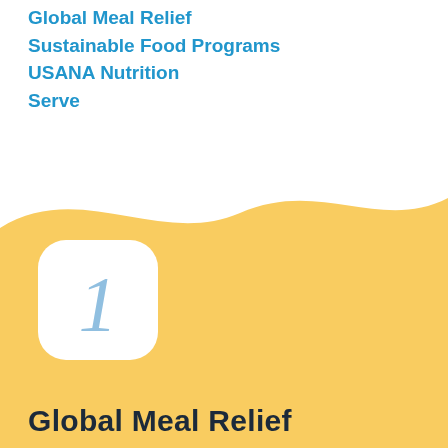Global Meal Relief
Sustainable Food Programs
USANA Nutrition
Serve
[Figure (illustration): Yellow/golden wave background shape filling the bottom half of the page with a rounded top edge]
[Figure (illustration): White rounded square badge containing a large italic blue number 1]
Global Meal Relief